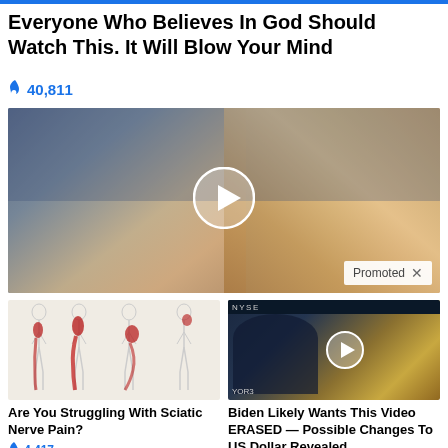Everyone Who Believes In God Should Watch This. It Will Blow Your Mind
🔥 40,811
[Figure (photo): Video thumbnail showing two people (a woman with long brown hair and a man) with a play button overlay and a 'Promoted X' tag in the corner]
[Figure (illustration): Medical illustration showing four body silhouettes with red highlighted areas indicating sciatic nerve pain running down the legs]
Are You Struggling With Sciatic Nerve Pain?
🔥 4,417
[Figure (screenshot): Video thumbnail showing a man in a dark suit sitting at a desk, with NYSE ticker in background and a play button overlay]
Biden Likely Wants This Video ERASED — Possible Changes To US Dollar Revealed
🔥 52,132